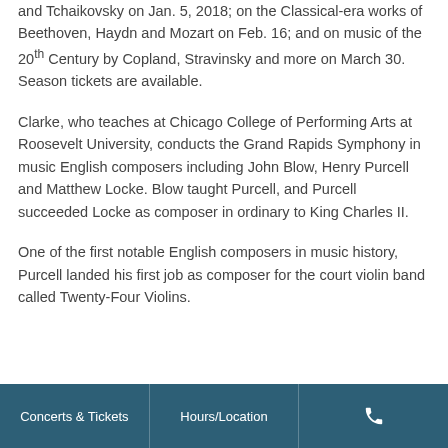and Tchaikovsky on Jan. 5, 2018; on the Classical-era works of Beethoven, Haydn and Mozart on Feb. 16; and on music of the 20th Century by Copland, Stravinsky and more on March 30. Season tickets are available.
Clarke, who teaches at Chicago College of Performing Arts at Roosevelt University, conducts the Grand Rapids Symphony in music English composers including John Blow, Henry Purcell and Matthew Locke. Blow taught Purcell, and Purcell succeeded Locke as composer in ordinary to King Charles II.
One of the first notable English composers in music history, Purcell landed his first job as composer for the court violin band called Twenty-Four Violins.
Concerts & Tickets | Hours/Location | Phone